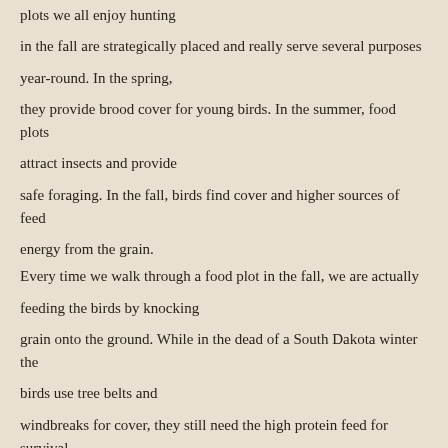plots we all enjoy hunting in the fall are strategically placed and really serve several purposes year-round. In the spring, they provide brood cover for young birds. In the summer, food plots attract insects and provide safe foraging. In the fall, birds find cover and higher sources of feed energy from the grain. Every time we walk through a food plot in the fall, we are actually feeding the birds by knocking grain onto the ground. While in the dead of a South Dakota winter the birds use tree belts and windbreaks for cover, they still need the high protein feed for survival. We continually work with our land owners to develop ideal habitat. This year, we're adding several tree areas to Emanuel's North and the Dice place